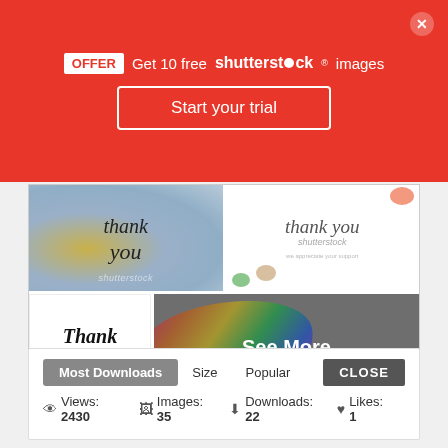[Figure (screenshot): Red promotional banner for Shutterstock offer: 'OFFER Get 10 free shutterstock images' with 'Start your trial' button and close X]
[Figure (screenshot): Grid of four 'thank you' themed stock images, with a 'See More' overlay on the last image]
[Figure (screenshot): Bottom stats panel showing tabs: Most Downloads (active), Size, Popular; CLOSE button; stats: Views: 2430, Images: 35, Downloads: 22, Likes: 1]